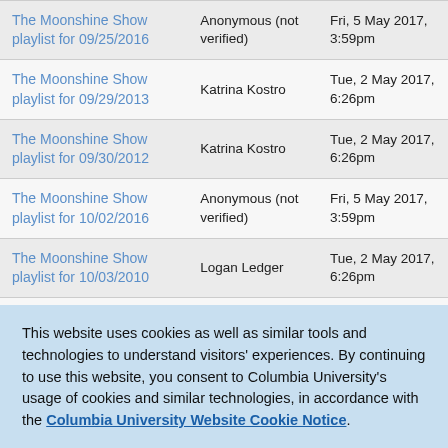| Title | Author | Date |
| --- | --- | --- |
| The Moonshine Show playlist for 09/25/2016 | Anonymous (not verified) | Fri, 5 May 2017, 3:59pm |
| The Moonshine Show playlist for 09/29/2013 | Katrina Kostro | Tue, 2 May 2017, 6:26pm |
| The Moonshine Show playlist for 09/30/2012 | Katrina Kostro | Tue, 2 May 2017, 6:26pm |
| The Moonshine Show playlist for 10/02/2016 | Anonymous (not verified) | Fri, 5 May 2017, 3:59pm |
| The Moonshine Show playlist for 10/03/2010 | Logan Ledger | Tue, 2 May 2017, 6:26pm |
| The Moonshine Show ... |  | Fri, ... |
This website uses cookies as well as similar tools and technologies to understand visitors' experiences. By continuing to use this website, you consent to Columbia University's usage of cookies and similar technologies, in accordance with the Columbia University Website Cookie Notice.